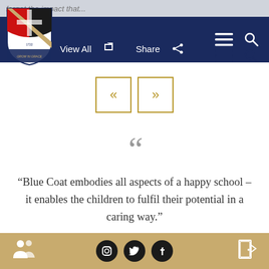forget the impact that...
[Figure (logo): Blue Coat School Birmingham crest/shield logo in red, black, white and gold with motto 'Grow in Grace']
View All   Share
[Figure (other): Previous (<<) and Next (>>) navigation arrow buttons with gold border]
“Blue Coat embodies all aspects of a happy school – it enables the children to fulfil their potential in a caring way.”
Social media icons: Instagram, Twitter, Facebook. People icon left. Door icon right.